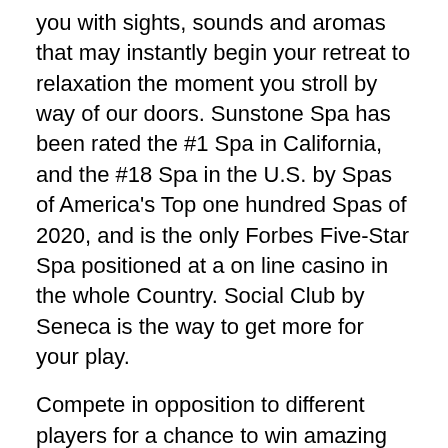you with sights, sounds and aromas that may instantly begin your retreat to relaxation the moment you stroll by way of our doors. Sunstone Spa has been rated the #1 Spa in California, and the #18 Spa in the U.S. by Spas of America's Top one hundred Spas of 2020, and is the only Forbes Five-Star Spa positioned at a on line casino in the whole Country. Social Club by Seneca is the way to get more for your play.
Compete in opposition to different players for a chance to win amazing prizes in our fast paced, motion packed on-line casino tournaments. A particular selection of the most popular and trending on-line on line casino video games being played now by other LV players. Experience the most important and the best gaming in the West. Five exclusive